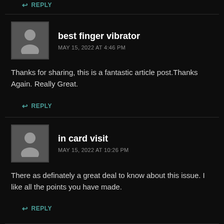↩ REPLY
best finger vibrator
MAY 15, 2022 AT 4:46 PM
Thanks for sharing, this is a fantastic article post.Thanks Again. Really Great.
↩ REPLY
in card visit
MAY 15, 2022 AT 10:26 PM
There as definately a great deal to know about this issue. I like all the points you have made.
↩ REPLY